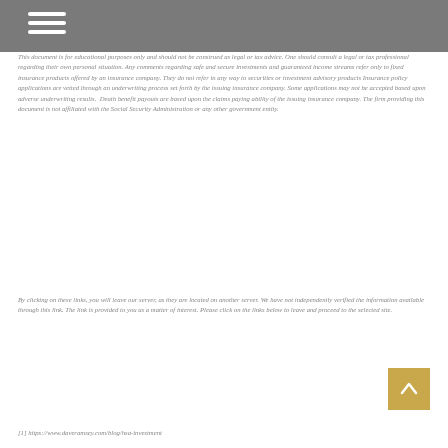This document is for educational purposes only and should not be construed as legal or tax advice. One should consult a legal or tax professional regarding their own personal situation. Any comments regarding safe and secure investments and guaranteed income streams refer only to fixed insurance products offered by an insurance company. They do not refer in any way to securities or investment advisory products Insurance policy applications are vetted through an underwriting process set forth by the issuing insurance company. Some applications may not be accepted based upon adverse underwriting results. Death benefit payouts are based upon the claims paying ability of the issuing insurance company. The firm providing this document is not affiliated with the Social Security Administration or any other government entity.
By clicking on these links, you will leave our server, as they are located on another server. We have not independently verified the information available through this link. The link is provided to you as a matter of interest. Please click on the links below to leave and proceed to the selected site.
[1] https://www.daveramsey.com/blog/hsa-investment